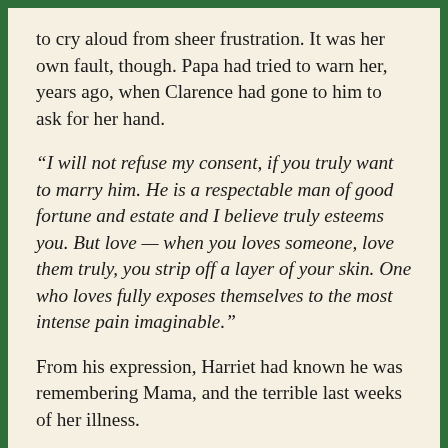to cry aloud from sheer frustration. It was her own fault, though. Papa had tried to warn her, years ago, when Clarence had gone to him to ask for her hand.
“I will not refuse my consent, if you truly want to marry him. He is a respectable man of good fortune and estate and I believe truly esteems you. But love — when you loves someone, love them truly, you strip off a layer of your skin. One who loves fully exposes themselves to the most intense pain imaginable.”
From his expression, Harriet had known he was remembering Mama, and the terrible last weeks of her illness.
“There are many successful marriages that do not require that sort of love. The parties rub along